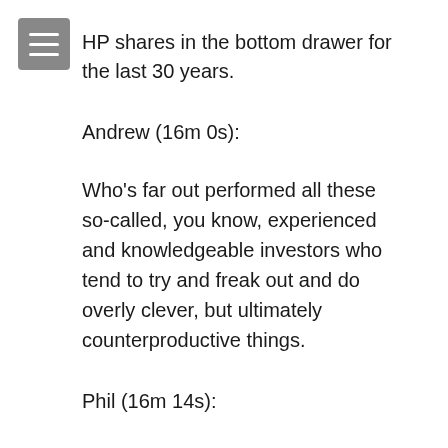HP shares in the bottom drawer for the last 30 years.
Andrew (16m 0s):
Who's far out performed all these so-called, you know, experienced and knowledgeable investors who tend to try and freak out and do overly clever, but ultimately counterproductive things.
Phil (16m 14s):
So let's talk about the storm clouds that we're seeing at the moment and what